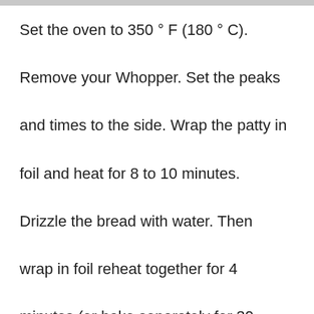Set the oven to 350 ° F (180 ° C). Remove your Whopper. Set the peaks and times to the side. Wrap the patty in foil and heat for 8 to 10 minutes. Drizzle the bread with water. Then wrap in foil reheat together for 4 minutes (or bake separately for 30 seconds), assemble and serve.